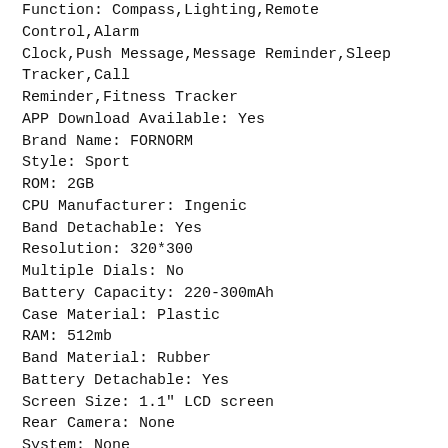Function: Compass,Lighting,Remote Control,Alarm Clock,Push Message,Message Reminder,Sleep Tracker,Call Reminder,Fitness Tracker
APP Download Available: Yes
Brand Name: FORNORM
Style: Sport
ROM: 2GB
CPU Manufacturer: Ingenic
Band Detachable: Yes
Resolution: 320*300
Multiple Dials: No
Battery Capacity: 220-300mAh
Case Material: Plastic
RAM: 512mb
Band Material: Rubber
Battery Detachable: Yes
Screen Size: 1.1" LCD screen
Rear Camera: None
System: None
Movement Type: Electronic
CPU Model: DA14580
Screen Shape: Round